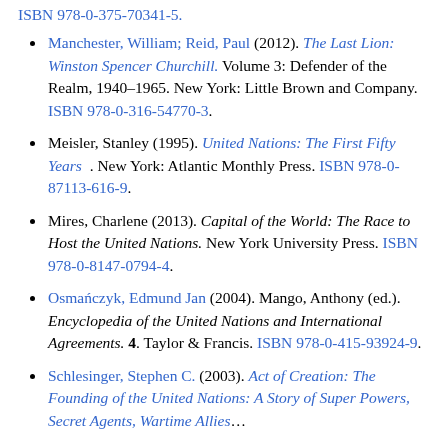Manchester, William; Reid, Paul (2012). The Last Lion: Winston Spencer Churchill. Volume 3: Defender of the Realm, 1940–1965. New York: Little Brown and Company. ISBN 978-0-316-54770-3.
Meisler, Stanley (1995). United Nations: The First Fifty Years . New York: Atlantic Monthly Press. ISBN 978-0-87113-616-9.
Mires, Charlene (2013). Capital of the World: The Race to Host the United Nations. New York University Press. ISBN 978-0-8147-0794-4.
Osmańczyk, Edmund Jan (2004). Mango, Anthony (ed.). Encyclopedia of the United Nations and International Agreements. 4. Taylor & Francis. ISBN 978-0-415-93924-9.
Schlesinger, Stephen C. (2003). Act of Creation: The Founding of the United Nations: A Story of Super Powers, Secret Agents, Wartime Allies...